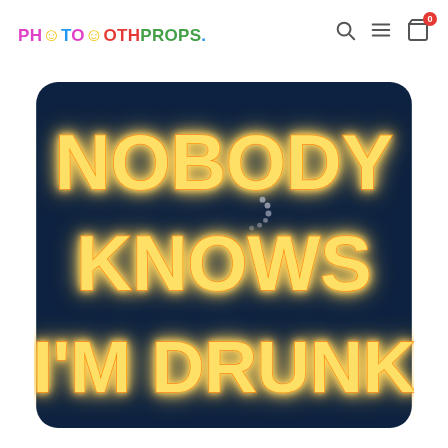PHOTOBOOTHPROPS.
[Figure (illustration): Dark navy blue rounded rectangle sign with neon orange glowing text reading 'NOBODY KNOWS I'M DRUNK' in three lines, styled as a neon sign with orange/yellow glow effect on dark background. Small dotted loading spinner visible near center-top area.]